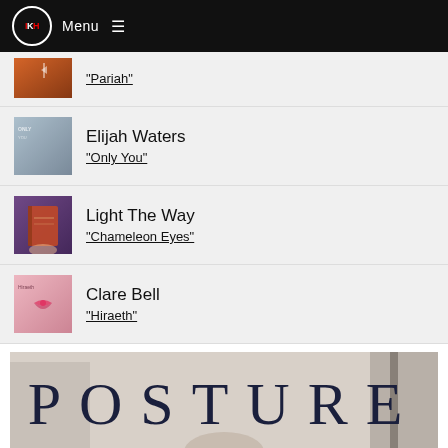IKH Menu
"Pariah"
Elijah Waters
"Only You"
Light The Way
"Chameleon Eyes"
Clare Bell
"Hiraeth"
[Figure (photo): Partially visible image showing the word POSTURE in large spaced serif letters in dark navy, with a person partially visible]